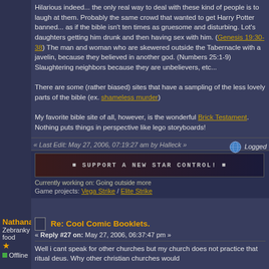Hilarious indeed... the only real way to deal with these kind of people is to laugh at them. Probably the same crowd that wanted to get Harry Potter banned... as if the bible isn't ten times as gruesome and disturbing. Lot's daughters getting him drunk and then having sex with him. (Genesis 19:30-38) The man and woman who are skewered outside the Tabernacle with a javelin, because they believed in another god. (Numbers 25:1-9) Slaughtering neighbors because they are unbelievers, etc...
There are some (rather biased) sites that have a sampling of the less lovely parts of the bible (ex. shameless murder)
My favorite bible site of all, however, is the wonderful Brick Testament. Nothing puts things in perspective like lego storyboards!
« Last Edit: May 27, 2006, 07:19:27 am by Halleck »
[Figure (screenshot): Banner image: SUPPORT A NEW STAR CONTROL! with decorative sci-fi styling]
Currently working on: Going outside more
Game projects: Vega Strike / Elite Strike
Nathanael
Zebranky food
Re: Cool Comic Booklets.
« Reply #27 on: May 27, 2006, 06:37:47 pm »
Well i cant speak for other churches but my church does not practice that ritual deus. Why other christian churches would